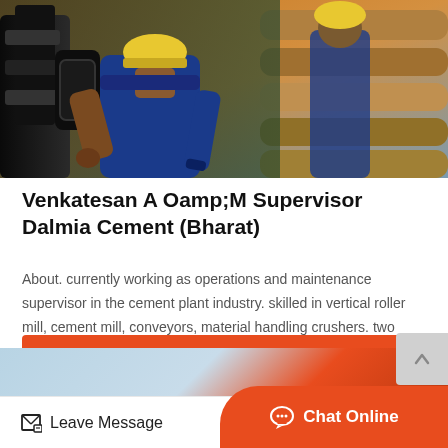[Figure (photo): Industrial worker in blue uniform and yellow helmet operating heavy machinery, with metal pipes/tubes in background, orange sunset sky visible]
Venkatesan A Oamp;M Supervisor Dalmia Cement (Bharat)
About. currently working as operations and maintenance supervisor in the cement plant industry. skilled in vertical roller mill, cement mill, conveyors, material handling crushers. two ye…
Get Details
Leave Message
Chat Online